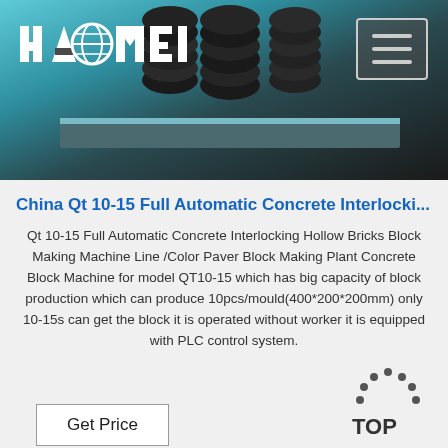[Figure (photo): Industrial machinery header image showing black rubber coils/springs on a metallic platform with teal/blue background. HAOMEI logo in white top-left, hamburger menu button top-right.]
China Qt 10-15 Full Automatic Concrete Interlocki...
Qt 10-15 Full Automatic Concrete Interlocking Hollow Bricks Block Making Machine Line /Color Paver Block Making Plant Concrete Block Machine for model QT10-15 which has big capacity of block production which can produce 10pcs/mould(400*200*200mm) only 10-15s can get the block it is operated without worker it is equipped with PLC control system.
Get Price